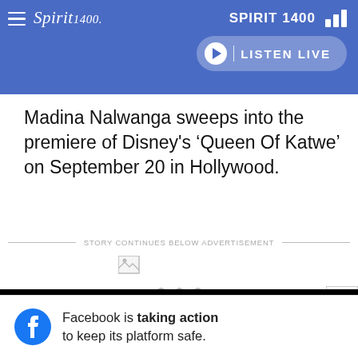SPIRIT 1400 — Spirit 1400 radio website header with logo, LISTEN LIVE button
Madina Nalwanga sweeps into the premiere of Disney's ‘Queen Of Katwe’ on September 20 in Hollywood.
STORY CONTINUES BELOW ADVERTISEMENT
[Figure (other): Broken image placeholder icon]
[Figure (other): Three loading dots indicating advertisement loading]
[Figure (other): Facebook ad banner: Facebook is taking action to keep its platform safe.]